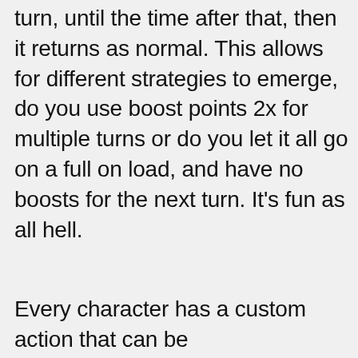turn, until the time after that, then it returns as normal. This allows for different strategies to emerge, do you use boost points 2x for multiple turns or do you let it all go on a full on load, and have no boosts for the next turn. It's fun as all hell.
Every character has a custom action that can be